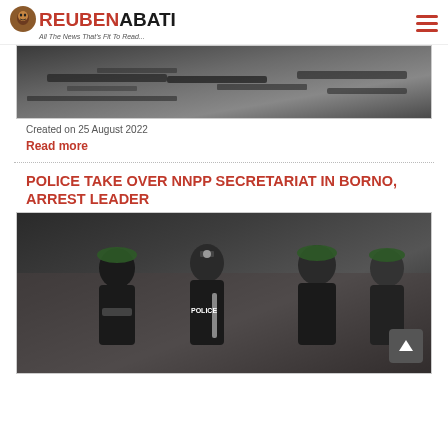ReubenAbati — All The News That's Fit To Read...
[Figure (photo): Close-up photo of weapons/guns on the ground]
Created on 25 August 2022
Read more
POLICE TAKE OVER NNPP SECRETARIAT IN BORNO, ARREST LEADER
[Figure (photo): Nigerian police officers in uniform standing together, one holding a baton, with military berets]